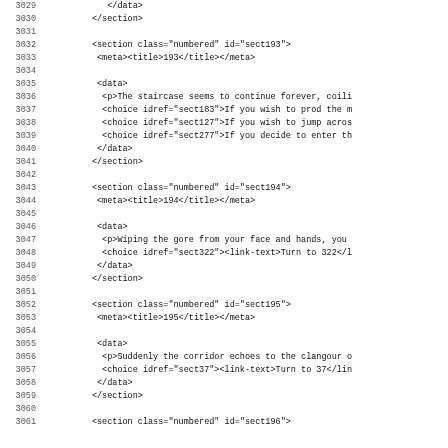Code listing showing XML source lines 3029–3061
3029     </data>
3030     </section>
3031
3032     <section class="numbered" id="sect193">
3033      <meta><title>193</title></meta>
3034
3035      <data>
3036       <p>The staircase seems to continue forever, coili
3037       <choice idref="sect183">If you wish to prod the m
3038       <choice idref="sect127">If you wish to jump acros
3039       <choice idref="sect277">If you decide to enter th
3040      </data>
3041     </section>
3042
3043     <section class="numbered" id="sect194">
3044      <meta><title>194</title></meta>
3045
3046      <data>
3047       <p>Wiping the gore from your face and hands, you
3048       <choice idref="sect322"><link-text>Turn to 322</l
3049      </data>
3050     </section>
3051
3052     <section class="numbered" id="sect195">
3053      <meta><title>195</title></meta>
3054
3055      <data>
3056       <p>Suddenly the corridor echoes to the clangour o
3057       <choice idref="sect37"><link-text>Turn to 37</lin
3058      </data>
3059     </section>
3060
3061     <section class="numbered" id="sect196">